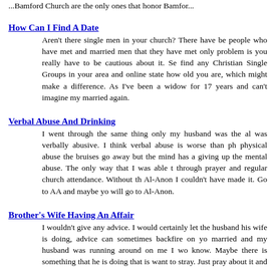...Bamford Church are the only ones that honor Bamfor...
How Can I Find A Date
Aren't there single men in your church? There have been people who have met and married men that they have met. The only problem is you really have to be cautious about it. See if you can find any Christian Single Groups in your area and online. You didn't state how old you are, which might make a difference. As for myself, I've been a widow for 17 years and can't imagine myself getting married again.
Verbal Abuse And Drinking
I went through the same thing only my husband was the alcoholic and was verbally abusive. I think verbal abuse is worse than physical abuse, physical abuse the bruises go away but the mind has a hard time giving up the mental abuse. The only way that I was able to get through it was through prayer and regular church attendance. Without the help of Al-Anon I couldn't have made it. Go to AA and maybe your husband will go to Al-Anon.
Brother's Wife Having An Affair
I wouldn't give any advice. I would certainly let the husband know what his wife is doing, advice can sometimes backfire on you. When I was married and my husband was running around on me I would want to know. Maybe there is something that he is doing that is causing her to want to stray. Just pray about it and for them.